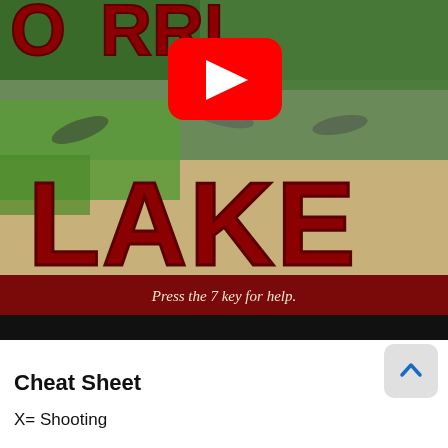[Figure (screenshot): YouTube video thumbnail showing a game or movie titled 'LAKE' with large red stylized text. The scene shows figures on a sandy/grassy area. A red YouTube play button overlay is visible in the upper center. A dark red banner at the bottom of the video reads 'Press the 7 key for help.' Below the video is a black strip. A scroll-up button is in the bottom right corner.]
Cheat Sheet
X= Shooting